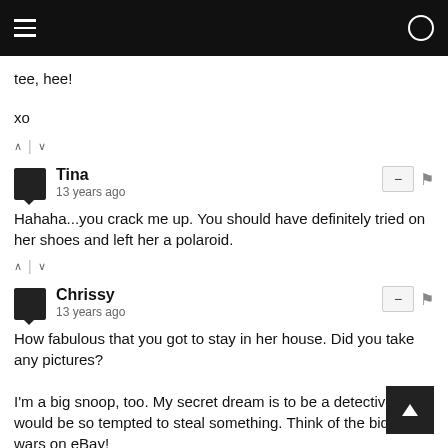tee, hee!
xo
Tina
13 years ago
Hahaha...you crack me up. You should have definitely tried on her shoes and left her a polaroid.
Chrissy
13 years ago
How fabulous that you got to stay in her house. Did you take any pictures?

I'm a big snoop, too. My secret dream is to be a detective. I would be so tempted to steal something. Think of the bidding wars on eBay!